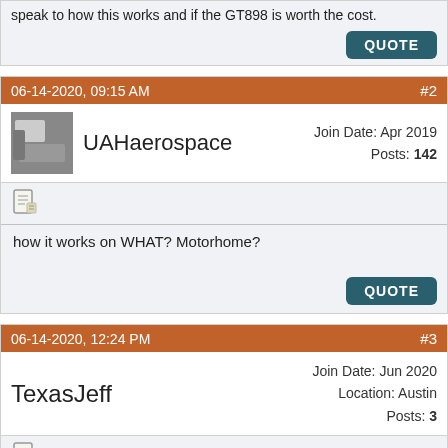speak to how this works and if the GT898 is worth the cost.
06-14-2020, 09:15 AM   #2
UAHaerospace  Join Date: Apr 2019  Posts: 142
how it works on WHAT? Motorhome?
06-14-2020, 12:24 PM   #3
TexasJeff  Join Date: Jun 2020  Location: Austin  Posts: 3
Quote: